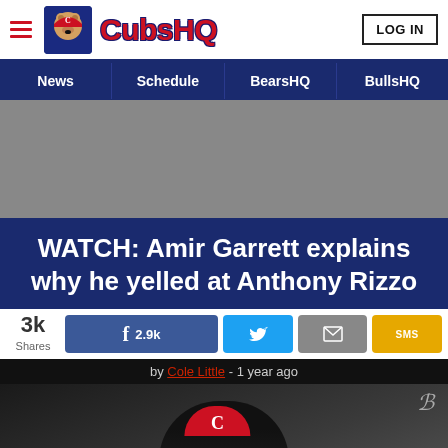CubsHQ | LOG IN
News | Schedule | BearsHQ | BullsHQ
[Figure (other): Gray advertisement placeholder area]
WATCH: Amir Garrett explains why he yelled at Anthony Rizzo
3k Shares | Facebook 2.9k | Twitter | Email | SMS
by Cole Little - 1 year ago
[Figure (photo): Photo of Amir Garrett at a press conference wearing a red Cincinnati Reds cap, with PNC and Reds sponsor logos visible in the background]